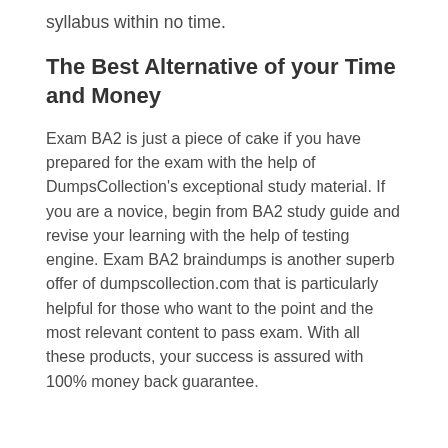syllabus within no time.
The Best Alternative of your Time and Money
Exam BA2 is just a piece of cake if you have prepared for the exam with the help of DumpsCollection's exceptional study material. If you are a novice, begin from BA2 study guide and revise your learning with the help of testing engine. Exam BA2 braindumps is another superb offer of dumpscollection.com that is particularly helpful for those who want to the point and the most relevant content to pass exam. With all these products, your success is assured with 100% money back guarantee.